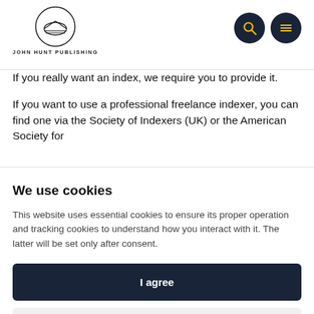JOHN HUNT PUBLISHING
If you really want an index, we require you to provide it.
If you want to use a professional freelance indexer, you can find one via the Society of Indexers (UK) or the American Society for
We use cookies
This website uses essential cookies to ensure its proper operation and tracking cookies to understand how you interact with it. The latter will be set only after consent.
I agree
Customize